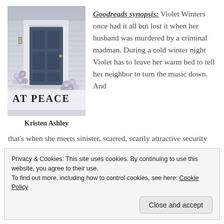[Figure (illustration): Book cover of 'At Peace' by Kristen Ashley — a house door with pillars, winter scene, lavender flowers, blue-grey tones, title text 'AT PEACE' at bottom]
Kristen Ashley
Goodreads synopsis: Violet Winters once had it all but lost it when her husband was murdered by a criminal madman. During a cold winter night Violet has to leave her warm bed to tell her neighbor to turn the music down. And that's when she meets sinister, scarred, scarily attractive security specialist, Joe Callahan.
She wants to deny it, but Violet can't beat back the
Privacy & Cookies: This site uses cookies. By continuing to use this website, you agree to their use.
To find out more, including how to control cookies, see here: Cookie Policy
Close and accept